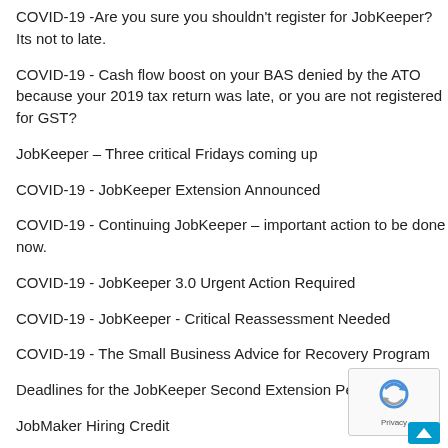COVID-19 -Are you sure you shouldn't register for JobKeeper? Its not to late.
COVID-19 - Cash flow boost on your BAS denied by the ATO because your 2019 tax return was late, or you are not registered for GST?
JobKeeper – Three critical Fridays coming up
COVID-19 - JobKeeper Extension Announced
COVID-19 - Continuing JobKeeper – important action to be done now.
COVID-19 - JobKeeper 3.0 Urgent Action Required
COVID-19 - JobKeeper - Critical Reassessment Needed
COVID-19 - The Small Business Advice for Recovery Program
Deadlines for the JobKeeper Second Extension Period.
JobMaker Hiring Credit
Small businesses are in the final stretch to apply for